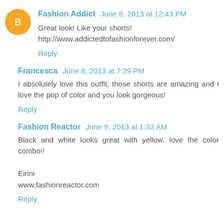Fashion Addict  June 8, 2013 at 12:43 PM
Great look! Like your shorts!
http://www.addictedtofashionforever.com/
Reply
Francesca  June 8, 2013 at 7:29 PM
I absolutely love this outfit, those shorts are amazing and I love the pop of color and you look gorgeous!
Reply
Fashion Reactor  June 9, 2013 at 1:33 AM
Black and white looks great with yellow. love the color combo!!

Eirini
www.fashionreactor.com
Reply